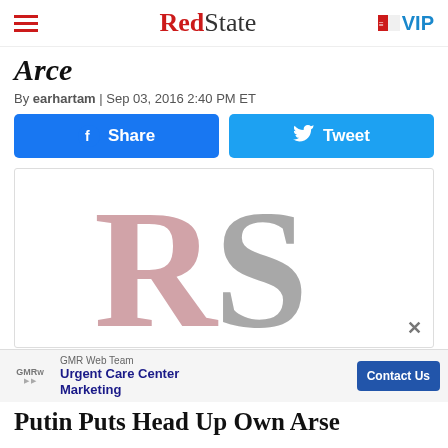RedState | VIP
Arce
By earhartam | Sep 03, 2016 2:40 PM ET
[Figure (screenshot): Facebook Share button and Twitter Tweet button]
[Figure (logo): RedState RS logo placeholder image, large stylized letters R in pink/mauve and S in gray]
[Figure (screenshot): Advertisement bar: GMR Web Team - Urgent Care Center Marketing, with Contact Us button]
Putin Puts Head Up Own Arse